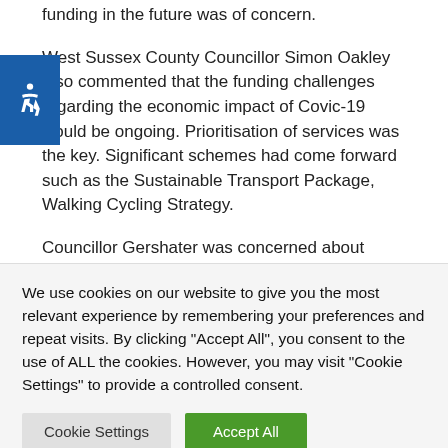funding in the future was of concern.
West Sussex County Councillor Simon Oakley also commented that the funding challenges regarding the economic impact of Covic-19 would be ongoing. Prioritisation of services was the key. Significant schemes had come forward such as the Sustainable Transport Package, Walking Cycling Strategy.
Councillor Gershater was concerned about
We use cookies on our website to give you the most relevant experience by remembering your preferences and repeat visits. By clicking "Accept All", you consent to the use of ALL the cookies. However, you may visit "Cookie Settings" to provide a controlled consent.